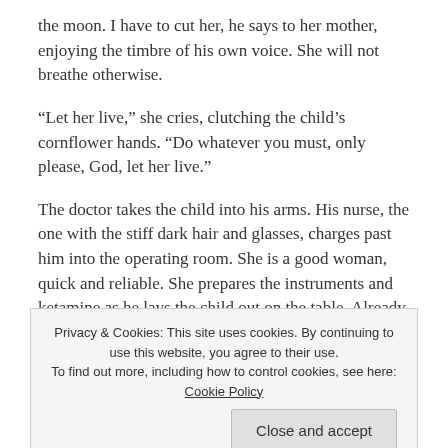the moon. I have to cut her, he says to her mother, enjoying the timbre of his own voice. She will not breathe otherwise.
“Let her live,” she cries, clutching the child’s cornflower hands. “Do whatever you must, only please, God, let her live.”
The doctor takes the child into his arms. His nurse, the one with the stiff dark hair and glasses, charges past him into the operating room. She is a good woman, quick and reliable. She prepares the instruments and ketamine as he lays the child out on the table. Already, blood is rushing back into the hollow space where his brain used to be, while a thousand nerve fibers bloom once more in his hands. He thinks of some puerile nonsense to say to the child as she shuts her terrified
Privacy & Cookies: This site uses cookies. By continuing to use this website, you agree to their use.
To find out more, including how to control cookies, see here: Cookie Policy
nurse’s brow grows slick with sweat as the red drops that